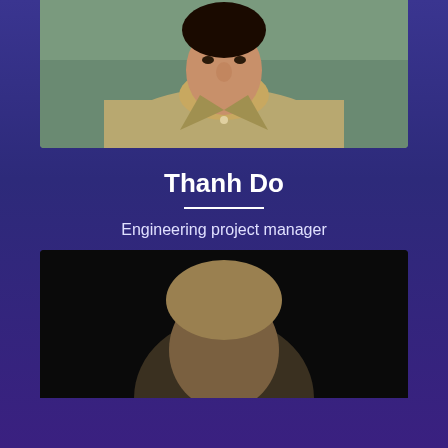[Figure (photo): Headshot of Thanh Do, a man in a khaki button-up shirt, photographed outdoors with green background]
Thanh Do
Engineering project manager
Software engineer at Apple since 2018
[Figure (logo): LinkedIn icon button - cyan/turquoise square with 'in' text]
[Figure (photo): Partial headshot of another person visible at bottom of page, dark background]